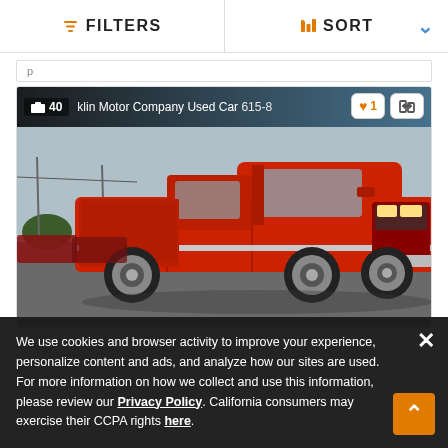FILTERS   SORT
klin Motor Company Used Car 615-8
[Figure (photo): Red Chevrolet extended cab pickup truck (1990s) parked in a dealership lot. Banner overlay at top shows dealer name 'klin Motor Company Used Car 615-8' and photo count '40'. Action buttons show heart/favorite (1) and compare icons.]
We use cookies and browser activity to improve your experience, personalize content and ads, and analyze how our sites are used. For more information on how we collect and use this information, please review our Privacy Policy. California consumers may exercise their CCPA rights here.